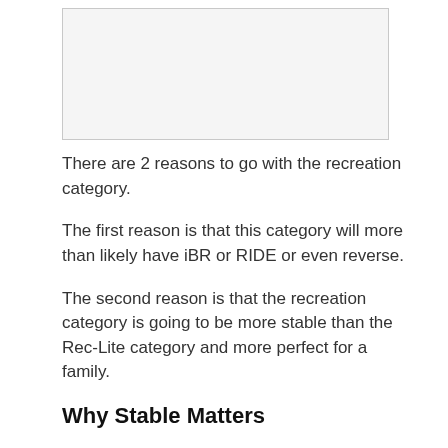[Figure (other): A blank or faint image placeholder rectangle at the top of the page]
There are 2 reasons to go with the recreation category.
The first reason is that this category will more than likely have iBR or RIDE or even reverse.
The second reason is that the recreation category is going to be more stable than the Rec-Lite category and more perfect for a family.
Why Stable Matters